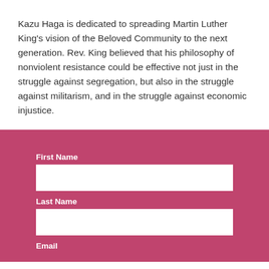Kazu Haga is dedicated to spreading Martin Luther King's vision of the Beloved Community to the next generation. Rev. King believed that his philosophy of nonviolent resistance could be effective not just in the struggle against segregation, but also in the struggle against militarism, and in the struggle against economic injustice.
First Name
Last Name
Email